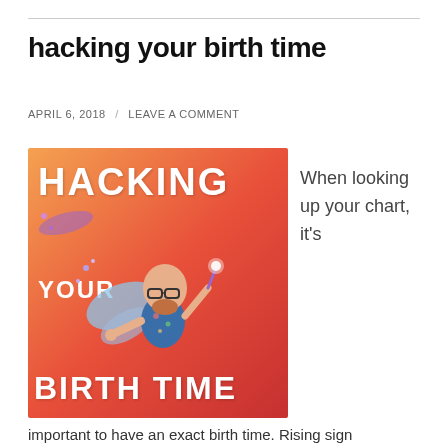hacking your birth time
APRIL 6, 2018 / LEAVE A COMMENT
[Figure (illustration): Illustrated image with orange-red gradient background. Large white bold text reads 'HACKING' at the top, 'YOUR' on the left middle, and 'BIRTH TIME' at the bottom. A cartoon bitmoji-style bald man with glasses, a beard, fairy wings, wearing a floral shirt, is flying and holding a magic wand with sparkles.]
When looking up your chart, it's
important to have an exact birth time. Rising sign